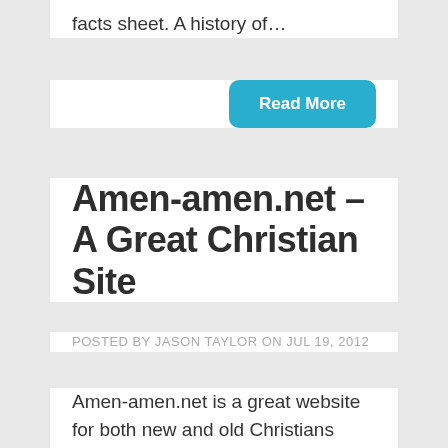facts sheet. A history of…
Read More
Amen-amen.net – A Great Christian Site
POSTED BY JASON TAYLOR ON JUL 19, 2012
Amen-amen.net is a great website for both new and old Christians alike; everyone will find something they love here. There are a number of features